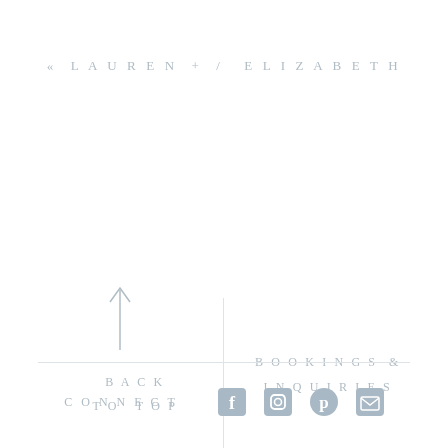« LAUREN + / ELIZABETH
[Figure (illustration): Upward arrow icon in light gray]
BACK
TO TOP
BOOKINGS &
INQUIRIES
CONNECT
[Figure (illustration): Social media icons: Facebook, Instagram, Pinterest, Email]